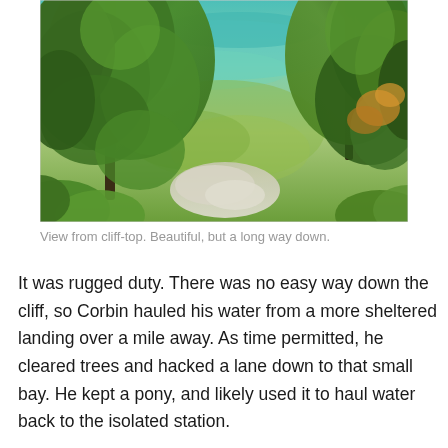[Figure (photo): Aerial view from a cliff-top looking down through green trees toward a small bay with clear turquoise and green water.]
View from cliff-top.  Beautiful, but a long way down.
It was rugged duty.  There was no easy way down the cliff, so Corbin hauled his water from a more sheltered landing over a mile away. As time permitted, he cleared trees and hacked a lane down to that small bay.  He kept a pony, and likely used it to haul water back to the isolated station.